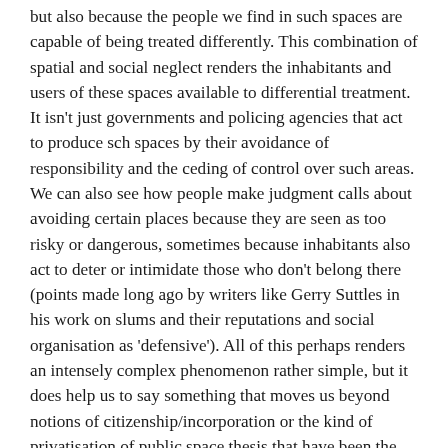but also because the people we find in such spaces are capable of being treated differently. This combination of spatial and social neglect renders the inhabitants and users of these spaces available to differential treatment. It isn't just governments and policing agencies that act to produce sch spaces by their avoidance of responsibility and the ceding of control over such areas. We can also see how people make judgment calls about avoiding certain places because they are seen as too risky or dangerous, sometimes because inhabitants also act to deter or intimidate those who don't belong there (points made long ago by writers like Gerry Suttles in his work on slums and their reputations and social organisation as 'defensive'). All of this perhaps renders an intensely complex phenomenon rather simple, but it does help us to say something that moves us beyond notions of citizenship/incorporation or the kind of privatisation of public space thesis that have been the polar points of discussion around urban space in recent years. If we can treat people differently, suspend ordinary rights of citizenship, because